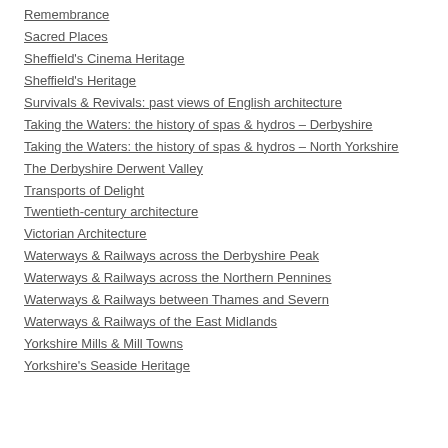Remembrance
Sacred Places
Sheffield's Cinema Heritage
Sheffield's Heritage
Survivals & Revivals: past views of English architecture
Taking the Waters: the history of spas & hydros – Derbyshire
Taking the Waters: the history of spas & hydros – North Yorkshire
The Derbyshire Derwent Valley
Transports of Delight
Twentieth-century architecture
Victorian Architecture
Waterways & Railways across the Derbyshire Peak
Waterways & Railways across the Northern Pennines
Waterways & Railways between Thames and Severn
Waterways & Railways of the East Midlands
Yorkshire Mills & Mill Towns
Yorkshire's Seaside Heritage